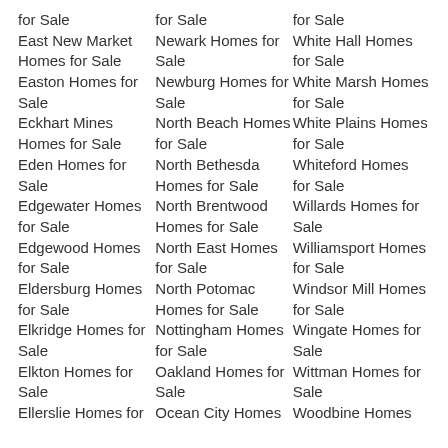for Sale
East New Market Homes for Sale
Easton Homes for Sale
Eckhart Mines Homes for Sale
Eden Homes for Sale
Edgewater Homes for Sale
Edgewood Homes for Sale
Eldersburg Homes for Sale
Elkridge Homes for Sale
Elkton Homes for Sale
Ellerslie Homes for
for Sale
Newark Homes for Sale
Newburg Homes for Sale
North Beach Homes for Sale
North Bethesda Homes for Sale
North Brentwood Homes for Sale
North East Homes for Sale
North Potomac Homes for Sale
Nottingham Homes for Sale
Oakland Homes for Sale
Ocean City Homes
for Sale
White Hall Homes for Sale
White Marsh Homes for Sale
White Plains Homes for Sale
Whiteford Homes for Sale
Willards Homes for Sale
Williamsport Homes for Sale
Windsor Mill Homes for Sale
Wingate Homes for Sale
Wittman Homes for Sale
Woodbine Homes